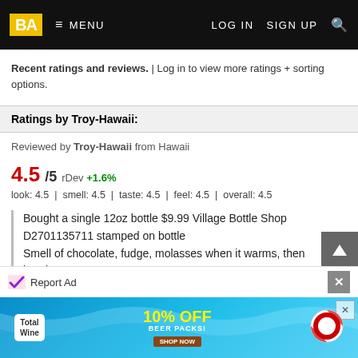BA  ≡ MENU   LOG IN   SIGN UP   🔍
Recent ratings and reviews. | Log in to view more ratings + sorting options.
Ratings by Troy-Hawaii:
Reviewed by Troy-Hawaii from Hawaii
4.5/5 rDev +1.6%
look: 4.5 | smell: 4.5 | taste: 4.5 | feel: 4.5 | overall: 4.5
Bought a single 12oz bottle $9.99 Village Bottle Shop
D2701135711 stamped on bottle
Smell of chocolate, fudge, molasses when it warms, then bourbon
Dark black color
Heavy mouthfeel
Medium-light carbonation
Report Ad
[Figure (screenshot): Total Wine advertisement banner showing 10% OFF BEER PACKS promotion with blue pool water background and beer bottle imagery]